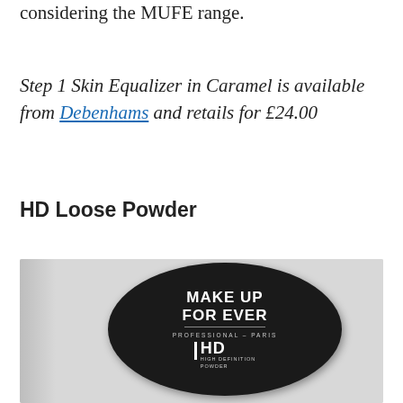considering the MUFE range.
Step 1 Skin Equalizer in Caramel is available from Debenhams and retails for £24.00
HD Loose Powder
[Figure (photo): Close-up photo of a Make Up For Ever HD High Definition Powder compact, showing the black round lid with white text: MAKE UP FOR EVER, PROFESSIONAL – PARIS, HD HIGH DEFINITION POWDER]